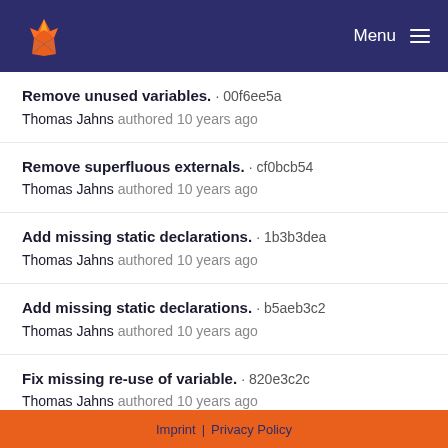GitLab · Menu
Remove unused variables. · 00f6ee5a
Thomas Jahns authored 10 years ago
Remove superfluous externals. · cf0bcb54
Thomas Jahns authored 10 years ago
Add missing static declarations. · 1b3b3dea
Thomas Jahns authored 10 years ago
Add missing static declarations. · b5aeb3c2
Thomas Jahns authored 10 years ago
Fix missing re-use of variable. · 820e3c2c
Thomas Jahns authored 10 years ago
Change test from extra variable for special value. · 98c2bd30
Thomas Jahns authored 10 years ago
Imprint | Privacy Policy